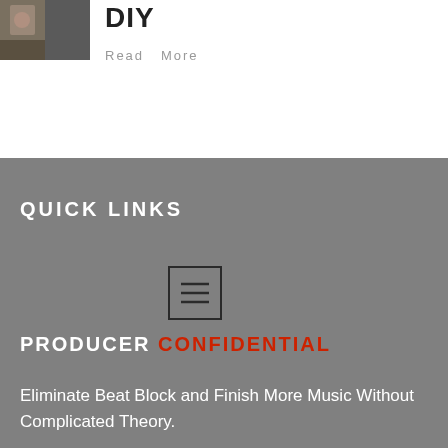[Figure (photo): Small thumbnail image, appears to show a person or music-related scene]
DIY
Read  More
QUICK LINKS
[Figure (other): Menu/hamburger icon inside a square border]
PRODUCER CONFIDENTIAL
Eliminate Beat Block and Finish More Music Without Complicated Theory.